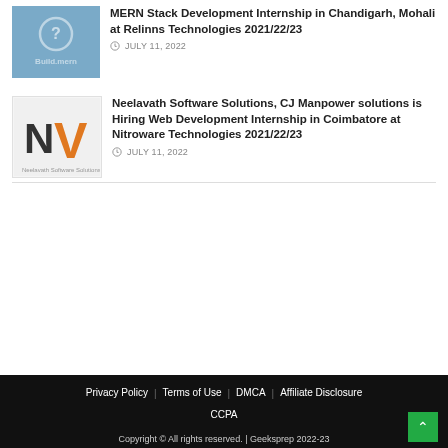[Figure (logo): Blue background logo with question mark and 'BuildMern' text overlay]
MERN Stack Development Internship in Chandigarh, Mohali at Relinns Technologies 2021/22/23
JULY 11, 2022
[Figure (logo): NV logo - Neelavath Software Solutions, grey and orange 'NV' letters on light background]
Neelavath Software Solutions, CJ Manpower solutions is Hiring Web Development Internship in Coimbatore at Nitroware Technologies 2021/22/23
JULY 11, 2022
Privacy Policy  Terms of Use  DMCA  Affiliate Disclosure  CCPA
Copyright © All rights reserved. | Geeksprep 2022-23